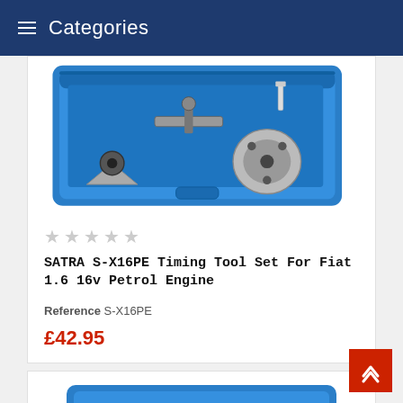Categories
[Figure (photo): SATRA S-X16PE Timing Tool Set in a blue plastic carry case, showing metal timing tools and fixtures arranged inside.]
SATRA S-X16PE Timing Tool Set For Fiat 1.6 16v Petrol Engine
Reference S-X16PE
£42.95
[Figure (photo): Partial view of another blue tool case at the bottom of the page.]